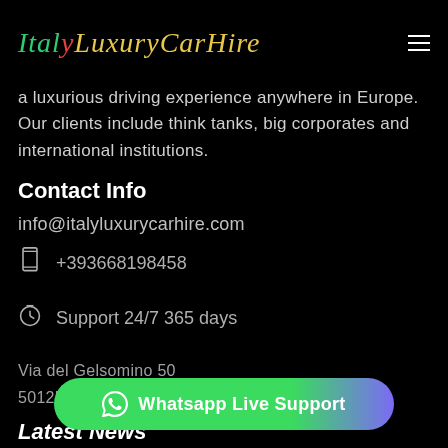ItalyLuxuryCarHire
a luxurious driving experience anywhere in Europe. Our clients include think tanks, big corporates and international institutions.
Contact Info
info@italyluxurycarhire.com
+393668198458
Support 24/7 365 days
Via del Gelsomino 50
50125 Firenze (F...
Latest News
Whatsapp Live Support